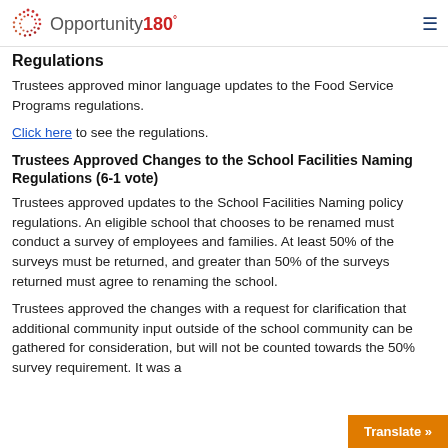Opportunity180°
Regulations
Trustees approved minor language updates to the Food Service Programs regulations.
Click here to see the regulations.
Trustees Approved Changes to the School Facilities Naming Regulations (6-1 vote)
Trustees approved updates to the School Facilities Naming policy regulations. An eligible school that chooses to be renamed must conduct a survey of employees and families. At least 50% of the surveys must be returned, and greater than 50% of the surveys returned must agree to renaming the school.
Trustees approved the changes with a request for clarification that additional community input outside of the school community can be gathered for consideration, but will not be counted towards the 50% survey requirement. It was a